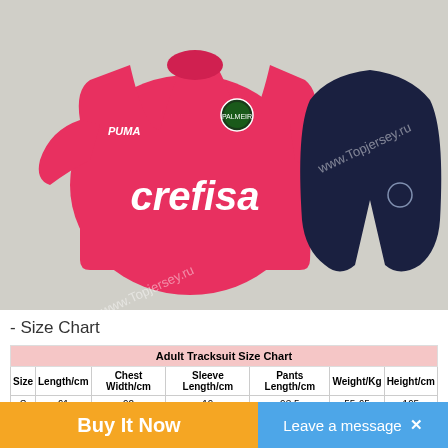[Figure (photo): Product photo of a pink/red Palmeiras Puma tracksuit set with a pink jersey showing 'crefisa' sponsor text and dark navy training pants, laid flat on a light surface. Watermark text 'www.Topjersey.ru' visible diagonally.]
- Size Chart
| Adult Tracksuit Size Chart |  |  |  |  |  |  |
| --- | --- | --- | --- | --- | --- | --- |
| Size | Length/cm | Chest Width/cm | Sleeve Length/cm | Pants Length/cm | Weight/Kg | Height/cm |
| S | ... | ... | ... | ... | ... | ... |
Buy It Now
Leave a message  ×